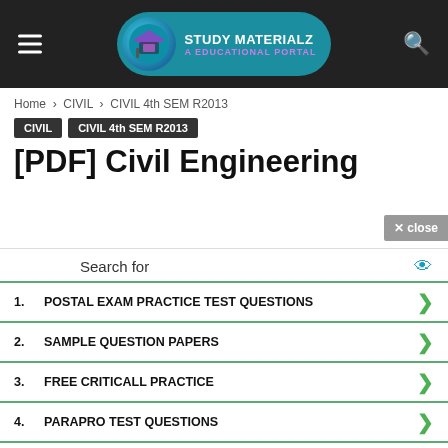[Figure (logo): Study Materialz Educational Portal logo with teal background and graduation cap icon]
Home › CIVIL › CIVIL 4th SEM R2013
CIVIL   CIVIL 4th SEM R2013
[PDF] Civil Engineering
Search for
1. POSTAL EXAM PRACTICE TEST QUESTIONS
2. SAMPLE QUESTION PAPERS
3. FREE CRITICALL PRACTICE
4. PARAPRO TEST QUESTIONS
5. PARAPRO PRACTICE QUESTIONS
Ad | Business Focus